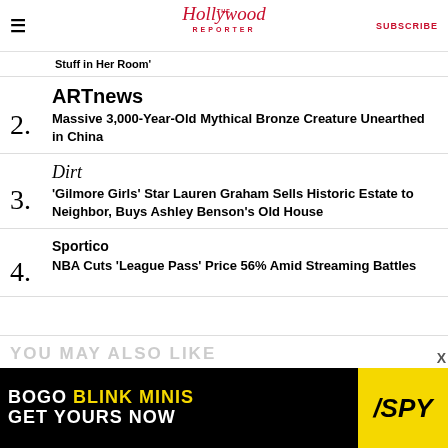The Hollywood Reporter | SUBSCRIBE
Stuff in Her Room'
ARTnews
2. Massive 3,000-Year-Old Mythical Bronze Creature Unearthed in China
Dirt
3. 'Gilmore Girls' Star Lauren Graham Sells Historic Estate to Neighbor, Buys Ashley Benson's Old House
Sportico
4. NBA Cuts 'League Pass' Price 56% Amid Streaming Battles
YOU MAY ALSO LIKE
[Figure (infographic): Advertisement: BOGO BLINK MINIS GET YOURS NOW - SPY]